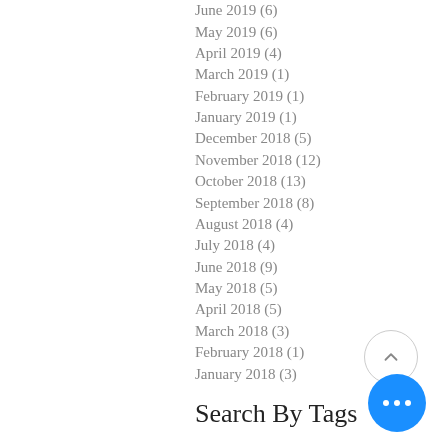June 2019 (6)
May 2019 (6)
April 2019 (4)
March 2019 (1)
February 2019 (1)
January 2019 (1)
December 2018 (5)
November 2018 (12)
October 2018 (13)
September 2018 (8)
August 2018 (4)
July 2018 (4)
June 2018 (9)
May 2018 (5)
April 2018 (5)
March 2018 (3)
February 2018 (1)
January 2018 (3)
Search By Tags
Birthday session   child photography